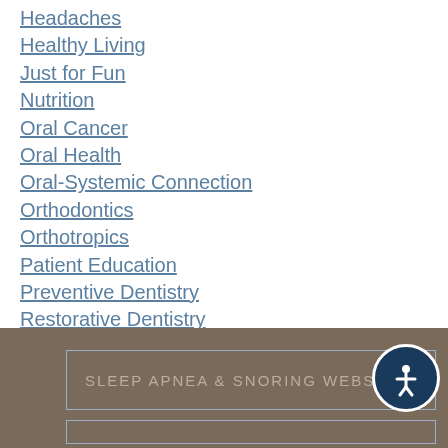Headaches
Healthy Living
Just for Fun
Nutrition
Oral Cancer
Oral Health
Oral-Systemic Connection
Orthodontics
Orthotropics
Patient Education
Preventive Dentistry
Restorative Dentistry
Senior Dental Care
Sleep Apnea
TMJ
Tooth Loss
Uncategorized
SLEEP APNEA & SNORING WEBSITE